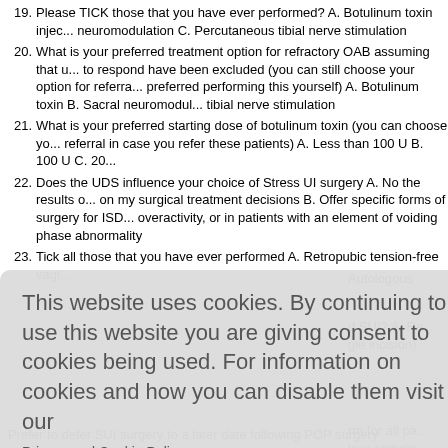19. Please TICK those that you have ever performed? A. Botulinum toxin inject... neuromodulation C. Percutaneous tibial nerve stimulation
20. What is your preferred treatment option for refractory OAB assuming that u... to respond have been excluded (you can still choose your option for referra... preferred performing this yourself) A. Botulinum toxin B. Sacral neuromodul... tibial nerve stimulation
21. What is your preferred starting dose of botulinum toxin (you can choose yo... referral in case you refer these patients) A. Less than 100 U B. 100 U C. 20...
22. Does the UDS influence your choice of Stress UI surgery A. No the results o... on my surgical treatment decisions B. Offer specific forms of surgery for ISD... overactivity, or in patients with an element of voiding phase abnormality
23. Tick all those that you have ever performed A. Retropubic tension-free vagi... Autologous...
This website uses cookies. By continuing to use this website you are giving consent to cookies being used. For information on cookies and how you can disable them visit our
Privacy and Cookie Policy.
AGREE & PROCEED
Prefer to defer SUI surgery to a later date following POP surgery